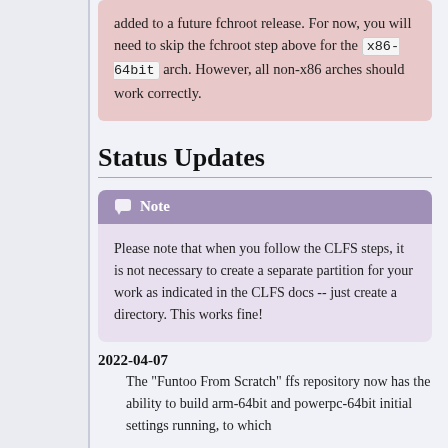added to a future fchroot release. For now, you will need to skip the fchroot step above for the x86-64bit arch. However, all non-x86 arches should work correctly.
Status Updates
Note: Please note that when you follow the CLFS steps, it is not necessary to create a separate partition for your work as indicated in the CLFS docs -- just create a directory. This works fine!
2022-04-07
The "Funtoo From Scratch" ffs repository now has the ability to build arm-64bit and powerpc-64bit initial settings running, to which...